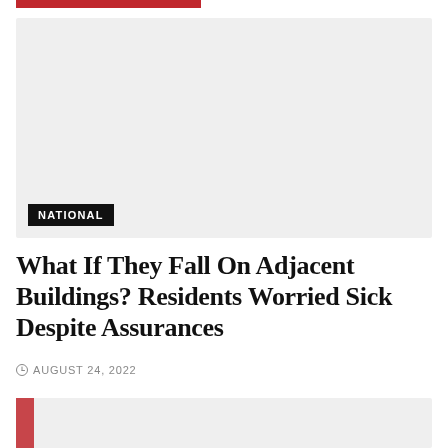[Figure (photo): Large light gray placeholder image with a NATIONAL category label badge in the lower left corner]
What If They Fall On Adjacent Buildings? Residents Worried Sick Despite Assurances
AUGUST 24, 2022
[Figure (photo): Partially visible gray placeholder image at the bottom of the page with a red accent on the left side]